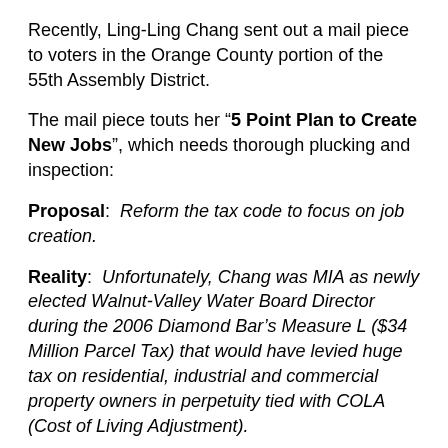Recently, Ling-Ling Chang sent out a mail piece to voters in the Orange County portion of the 55th Assembly District.
The mail piece touts her “5 Point Plan to Create New Jobs”, which needs thorough plucking and inspection:
Proposal:  Reform the tax code to focus on job creation.
Reality:  Unfortunately, Chang was MIA as newly elected Walnut-Valley Water Board Director during the 2006 Diamond Bar’s Measure L ($34 Million Parcel Tax) that would have levied huge tax on residential, industrial and commercial property owners in perpetuity tied with COLA (Cost of Living Adjustment).
Proposal:  Reduce regulatory burdens that chase jobs out of state.